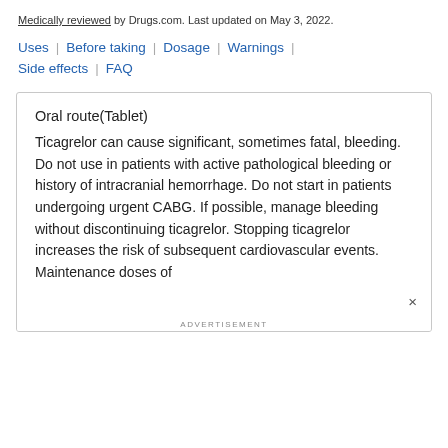Medically reviewed by Drugs.com. Last updated on May 3, 2022.
Uses | Before taking | Dosage | Warnings |
Side effects | FAQ
Oral route(Tablet)
Ticagrelor can cause significant, sometimes fatal, bleeding. Do not use in patients with active pathological bleeding or history of intracranial hemorrhage. Do not start in patients undergoing urgent CABG. If possible, manage bleeding without discontinuing ticagrelor. Stopping ticagrelor increases the risk of subsequent cardiovascular events. Maintenance doses of
ADVERTISEMENT